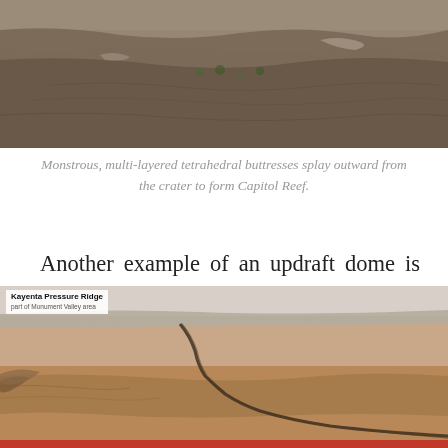[Figure (photo): Aerial or landscape photo showing multi-layered rocky terrain, reddish-brown eroded hillsides with sparse vegetation, Capitol Reef landscape.]
Monstrous, multi-layered tetrahedral buttresses splay outward from the crater to form Capitol Reef.
Another example of an updraft dome is Monument Valley, Arizona. It’s shark’s teeth rim is formed by inflow winds, expressed in the triangular sandstone layers of Comb Ridge.
[Figure (photo): Aerial photo of Kayenta Pressure Ridge showing a winding crack or ridge through flat reddish desert terrain, labeled 'Kayenta Pressure Ridge'.]